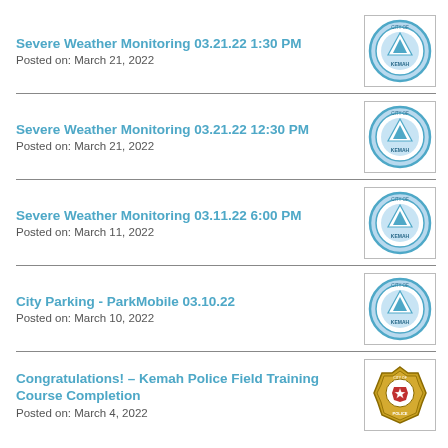Severe Weather Monitoring 03.21.22 1:30 PM
Posted on: March 21, 2022
Severe Weather Monitoring 03.21.22 12:30 PM
Posted on: March 21, 2022
Severe Weather Monitoring 03.11.22 6:00 PM
Posted on: March 11, 2022
City Parking - ParkMobile 03.10.22
Posted on: March 10, 2022
Congratulations! – Kemah Police Field Training Course Completion
Posted on: March 4, 2022